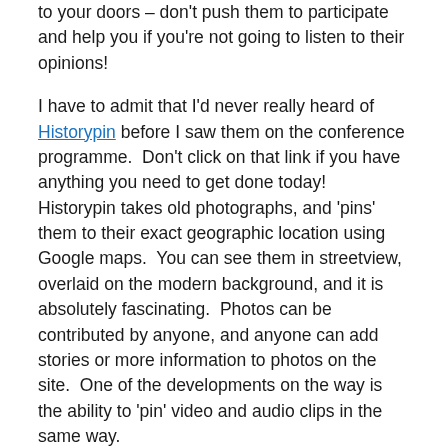to your doors – don't push them to participate and help you if you're not going to listen to their opinions!
I have to admit that I'd never really heard of Historypin before I saw them on the conference programme. Don't click on that link if you have anything you need to get done today! Historypin takes old photographs, and 'pins' them to their exact geographic location using Google maps. You can see them in streetview, overlaid on the modern background, and it is absolutely fascinating. Photos can be contributed by anyone, and anyone can add stories or more information to photos on the site. One of the developments on the way is the ability to 'pin' video and audio clips in the same way.
CEO Nick Stanhope was keen to point out that Historypin is a not-for-profit – they're in partnership with Google, but not owned by them, and they don't ask for any rights to any of the material posted on Historypin. They're keen to work with archives to add their photographic collections, and have a couple of things they hope to soon be able to offer archives in return (as well as increased exposure!): they'll be allowing any archive to